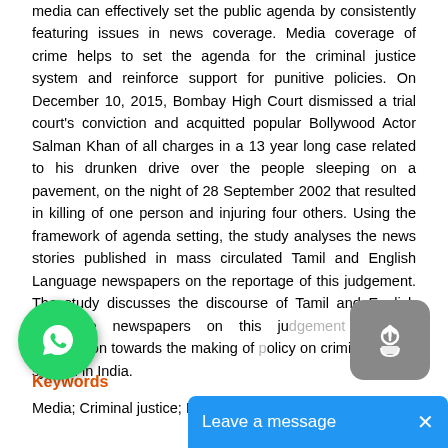media can effectively set the public agenda by consistently featuring issues in news coverage. Media coverage of crime helps to set the agenda for the criminal justice system and reinforce support for punitive policies. On December 10, 2015, Bombay High Court dismissed a trial court's conviction and acquitted popular Bollywood Actor Salman Khan of all charges in a 13 year long case related to his drunken drive over the people sleeping on a pavement, on the night of 28 September 2002 that resulted in killing of one person and injuring four others. Using the framework of agenda setting, the study analyses the news stories published in mass circulated Tamil and English Language newspapers on the reportage of this judgement. The study discusses the discourse of Tamil and English Language newspapers on this judgement and its contribution towards the making of policy on criminal justice system in India.
Keywords
Media; Criminal justice; Public po...
[Figure (other): WhatsApp share icon (green circle with phone handset)]
[Figure (other): Share/upload button (grey rounded square with up arrow)]
[Figure (other): Leave a message bar (blue banner with text and X close button)]